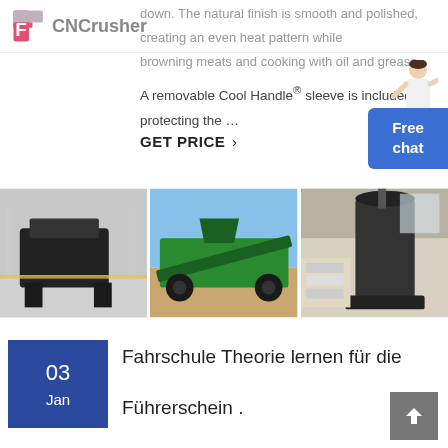CNCrusher
down. The natural finish is smooth and polished, creating an even heat pattern while browning meats and cooking with oil and grease.
A removable Cool Handle® sleeve is included, protecting the …
GET PRICE ›
[Figure (photo): Three crusher machines in industrial settings: a black jaw crusher on factory floor, a green mobile crushing plant outdoors, and a large vertical grinding mill inside a warehouse.]
03 Jan
Fahrschule Theorie lernen für die Führerschein .